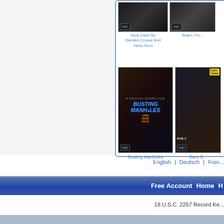[Figure (screenshot): Thumbnail image with HD badge - Zeus Used By Damien Crosse And Viktor Rom]
Zeus Used By
Damien Crosse And
Viktor Rom
[Figure (screenshot): Thumbnail image with HD badge - Adam, Flo (partially visible)]
Adam, Flo
[Figure (photo): Busting Manholes DVD cover - large thumbnail with HD badge]
Busting Manholes
[Figure (photo): Bare S... DVD cover with Euro Twink badge - partially visible]
Bare S...
English  |  Deutsch  |  Fran...
Free Account     Home     H
18 U.S.C. 2257 Record Ke...